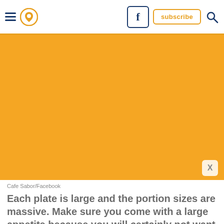Navigation header with hamburger menu, location pin icon, Facebook button, subscribe button, and search icon
[Figure (photo): Orange/yellow solid color area representing an image placeholder (Cafe Sabor/Facebook photo)]
Cafe Sabor/Facebook
Each plate is large and the portion sizes are massive. Make sure you come with a large appetite because you will certainly not want to